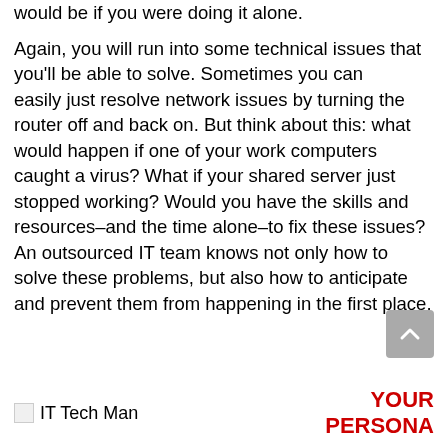would be if you were doing it alone.
Again, you will run into some technical issues that you'll be able to solve. Sometimes you can easily just resolve network issues by turning the router off and back on. But think about this: what would happen if one of your work computers caught a virus? What if your shared server just stopped working? Would you have the skills and resources–and the time alone–to fix these issues? An outsourced IT team knows not only how to solve these problems, but also how to anticipate and prevent them from happening in the first place.
[Figure (illustration): Small placeholder image icon labeled 'IT Tech Man']
YOUR PERSONA